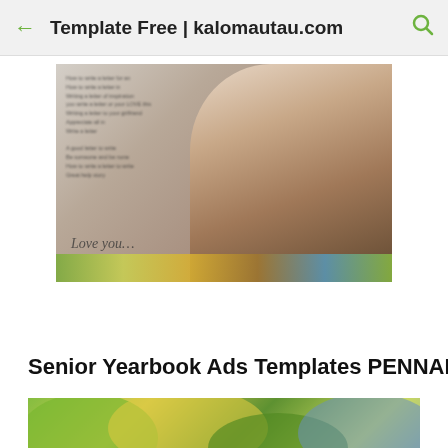Template Free | kalomautau.com
[Figure (photo): Blurred yearbook-style photo of a blonde woman with text overlay and script writing, with a colorful strip at the bottom]
Senior Yearbook Ads Templates PENNANT by
[Figure (photo): Colorful pennant-themed yearbook ad template with green, yellow, and blue background and circular photo placeholders at the bottom]